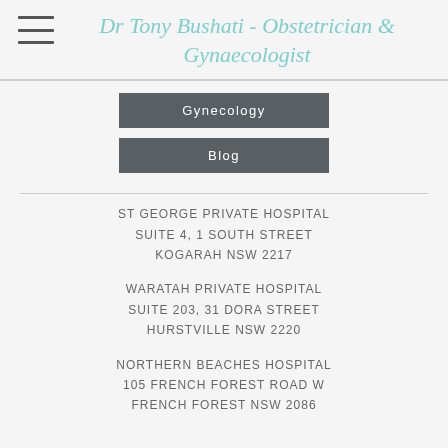Dr Tony Bushati - Obstetrician & Gynaecologist
Gynecology
Blog
ST GEORGE PRIVATE HOSPITAL
SUITE 4, 1 SOUTH STREET
KOGARAH NSW 2217
WARATAH PRIVATE HOSPITAL
SUITE 203, 31 DORA STREET
HURSTVILLE NSW 2220
NORTHERN BEACHES HOSPITAL
105 FRENCH FOREST ROAD W
FRENCH FOREST NSW 2086